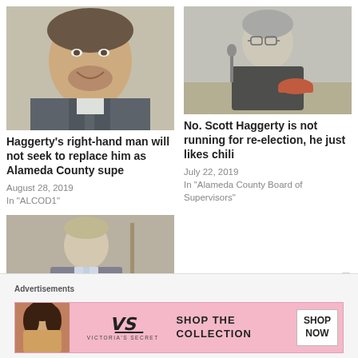[Figure (photo): Smiling man with beard and suit, headshot photo]
Haggerty's right-hand man will not seek to replace him as Alameda County supe
August 28, 2019
In "ALCOD1"
[Figure (photo): Older man sitting at table eating chili at a meeting]
No. Scott Haggerty is not running for re-election, he just likes chili
July 22, 2019
In "Alameda County Board of Supervisors"
[Figure (photo): Man in suit speaking at an event]
Wieckowski finds a new
Advertisements
[Figure (infographic): Victoria's Secret advertisement: Shop The Collection, Shop Now]